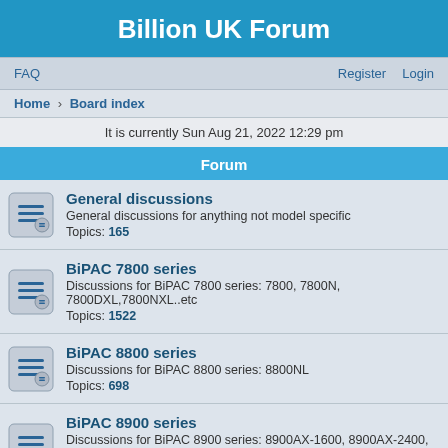Billion UK Forum
FAQ    Register    Login
Home › Board index
It is currently Sun Aug 21, 2022 12:29 pm
Forum
General discussions
General discussions for anything not model specific
Topics: 165
BiPAC 7800 series
Discussions for BiPAC 7800 series: 7800, 7800N, 7800DXL,7800NXL..etc
Topics: 1522
BiPAC 8800 series
Discussions for BiPAC 8800 series: 8800NL
Topics: 698
BiPAC 8900 series
Discussions for BiPAC 8900 series: 8900AX-1600, 8900AX-2400, 8900X
Topics: 298
BiPAC 7402 series
Discussion for BiPAC 7402 series: 7402, 7402G, 7402X, 7402GX, 7402NX..etc
Topics: 102